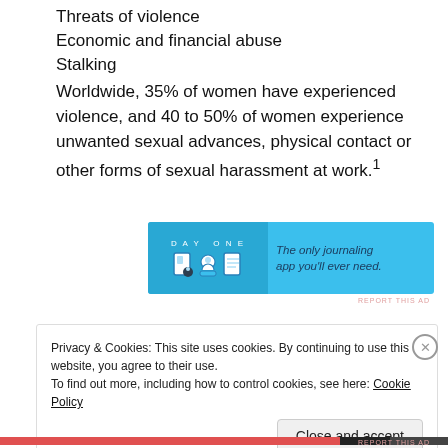Threats of violence
Economic and financial abuse
Stalking
Worldwide, 35% of women have experienced violence, and 40 to 50% of women experience unwanted sexual advances, physical contact or other forms of sexual harassment at work.1
[Figure (other): DAY ONE app advertisement banner. Blue background with icons and text: 'The only journaling app you'll ever need.']
Privacy & Cookies: This site uses cookies. By continuing to use this website, you agree to their use. To find out more, including how to control cookies, see here: Cookie Policy
Close and accept